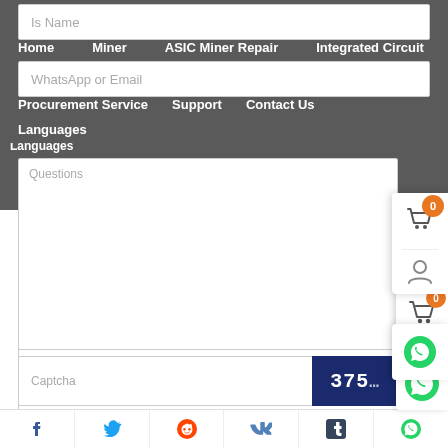Home | Miner | ASIC Miner Repair | Integrated Circuit | Procurement Service | Support | Contact Us | Languages
Is Name
WhatsApp or Email
Questions
Captcha
3753
SUBMIT
[Figure (infographic): Social share bar with icons for Facebook, Twitter, Reddit, VK, Tumblr, WhatsApp]
[Figure (infographic): Floating panel with cart icon showing badge 0, user icon, and WhatsApp chat icon]